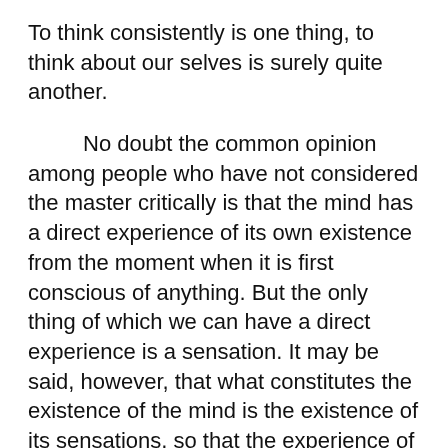To think consistently is one thing, to think about our selves is surely quite another.
No doubt the common opinion among people who have not considered the master critically is that the mind has a direct experience of its own existence from the moment when it is first conscious of anything. But the only thing of which we can have a direct experience is a sensation. It may be said, however, that what constitutes the existence of the mind is the existence of its sensations, so that the experience of a sensation is the experience of the mind's existence. There is some reason in this, but if it be true, then the knowledge of our own existence...